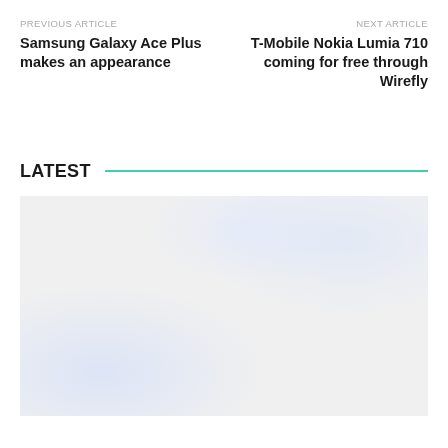PREVIOUS ARTICLE
Samsung Galaxy Ace Plus makes an appearance
NEXT ARTICLE
T-Mobile Nokia Lumia 710 coming for free through Wirefly
LATEST
[Figure (photo): A light gray background with a blurred white rounded-square phone shape tilted at an angle, with soft glowing blue-white light effects.]